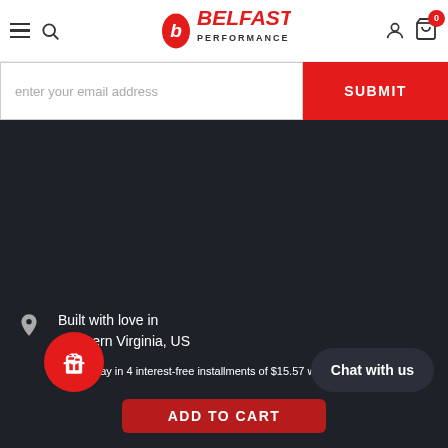Belfast Performance — navigation header with hamburger menu, search, logo, user icon, cart (0)
enter your email address
SUBMIT
Built with love in Northern Virginia, US
Call us: (505) 456-FAST
Pay in 4 interest-free installments of $15.57 with
ADD TO CART